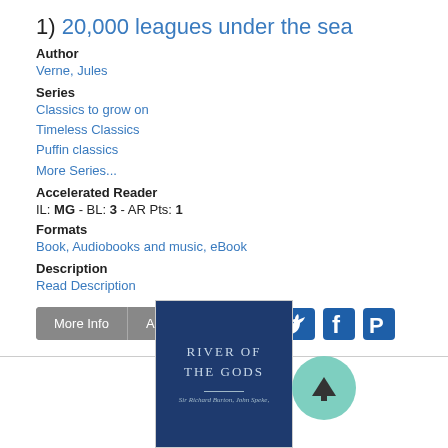1) 20,000 leagues under the sea
Author
Verne, Jules
Series
Classics to grow on
Timeless Classics
Puffin classics
More Series...
Accelerated Reader
IL: MG - BL: 3 - AR Pts: 1
Formats
Book, Audiobooks and music, eBook
Description
Read Description
[Figure (screenshot): Book cover for River of the Gods, dark blue background with title text and authors Sir Richard Burton, John Speke]
[Figure (other): Teal circular scroll-to-top button with upward arrow]